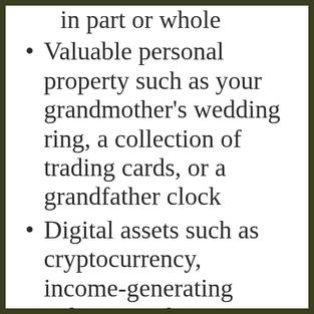in part or whole
Valuable personal property such as your grandmother’s wedding ring, a collection of trading cards, or a grandfather clock
Digital assets such as cryptocurrency, income-generating online storefronts, influencer accounts, or income-producing subscription accounts like